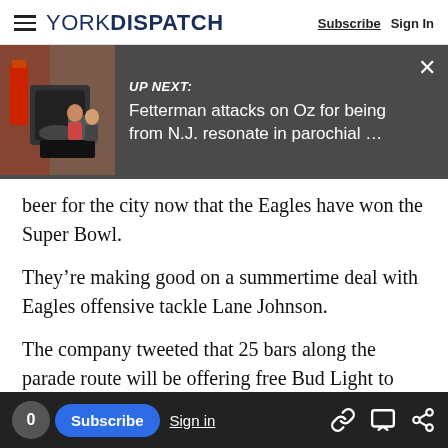YORK DISPATCH  Subscribe  Sign In
[Figure (screenshot): UP NEXT banner with thumbnail image showing people near a grill. Text reads: UP NEXT: Fetterman attacks on Oz for being from N.J. resonate in parochial ...]
beer for the city now that the Eagles have won the Super Bowl.
They’re making good on a summertime deal with Eagles offensive tackle Lane Johnson.
The company tweeted that 25 bars along the parade route will be offering free Bud Light to patrons.
The deal came after Johnson said in an interview...
0  Subscribe  Sign in
Bowl, he would give out beer “to everybody.”